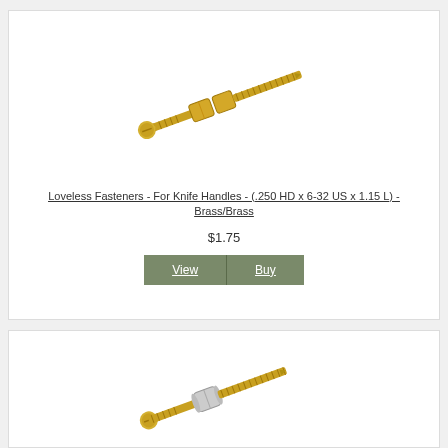[Figure (photo): Brass/Brass Loveless fastener for knife handles - a bolt with threaded shaft and two cylindrical brass spacers/nuts, oriented diagonally]
Loveless Fasteners - For Knife Handles - (.250 HD x 6-32 US x 1.15 L) - Brass/Brass
$1.75
[Figure (photo): Brass/Nickel Loveless fastener for knife handles - a bolt with threaded shaft and a cylindrical nickel spacer, oriented diagonally]